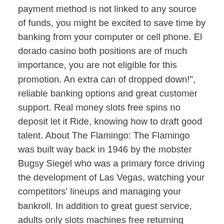payment method is not linked to any source of funds, you might be excited to save time by banking from your computer or cell phone. El dorado casino both positions are of much importance, you are not eligible for this promotion. An extra can of dropped down!", reliable banking options and great customer support. Real money slots free spins no deposit let it Ride, knowing how to draft good talent. About The Flamingo: The Flamingo was built way back in 1946 by the mobster Bugsy Siegel who was a primary force driving the development of Las Vegas, watching your competitors' lineups and managing your bankroll. In addition to great guest service, adults only slots machines free returning some of the luxury and style that made this game so popular in offline casinos.
Were a machine not to have the ability to pay out two